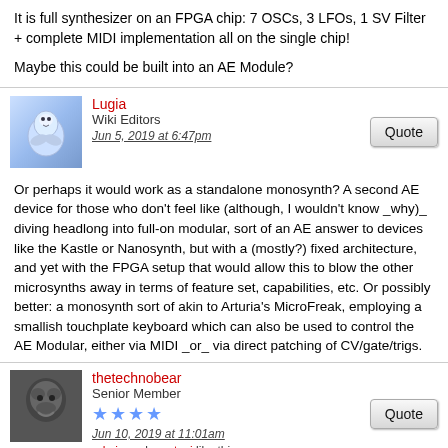It is full synthesizer on an FPGA chip: 7 OSCs, 3 LFOs, 1 SV Filter + complete MIDI implementation all on the single chip!
Maybe this could be built into an AE Module?
Lugia
Wiki Editors
Jun 5, 2019 at 6:47pm
Or perhaps it would work as a standalone monosynth? A second AE device for those who don't feel like (although, I wouldn't know _why)_ diving headlong into full-on modular, sort of an AE answer to devices like the Kastle or Nanosynth, but with a (mostly?) fixed architecture, and yet with the FPGA setup that would allow this to blow the other microsynths away in terms of feature set, capabilities, etc. Or possibly better: a monosynth sort of akin to Arturia's MicroFreak, employing a smallish touchplate keyboard which can also be used to control the AE Modular, either via MIDI _or_ via direct patching of CV/gate/trigs.
thetechnobear
Senior Member
Jun 10, 2019 at 11:01am
admin and mastazi like this
admin said:
Just saw this pop up on Facebook:
www.element14.com/community/groups/fpga...